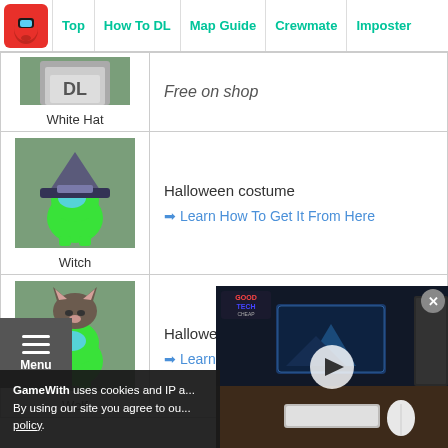Top | How To DL | Map Guide | Crewmate | Imposter
| Item | Description |
| --- | --- |
| White Hat | Free on shop (partial row) |
| Witch | Halloween costume
➡ Learn How To Get It From Here |
| Wolf | Halloween costume
➡ Learn How To Get It From Here |
GameWith uses cookies and IP a... By using our site you agree to ou... policy.
[Figure (screenshot): Video overlay showing a desktop setup with monitors, keyboard, and music equipment. GoodTech Cheap logo visible. Play button in center.]